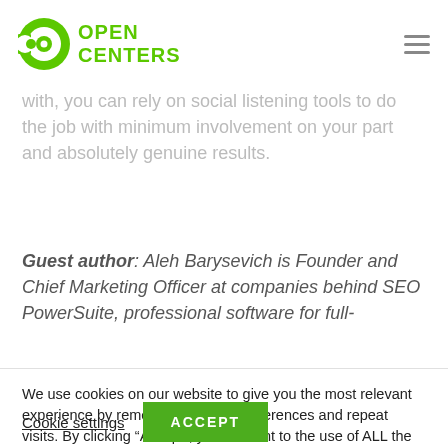Open Centers
with, you can rely on social listening tools to do the job with minimum involvement on your part and absolutely genuine results.
Guest author: Aleh Barysevich is Founder and Chief Marketing Officer at companies behind SEO PowerSuite, professional software for full-
We use cookies on our website to give you the most relevant experience by remembering your preferences and repeat visits. By clicking “Accept”, you consent to the use of ALL the cookies.
Cookie settings
ACCEPT